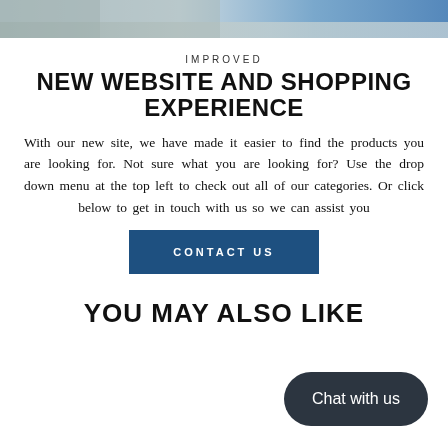[Figure (photo): Banner image with outdoor/nature scene, partial view of sky and textured surface]
IMPROVED
NEW WEBSITE AND SHOPPING EXPERIENCE
With our new site, we have made it easier to find the products you are looking for. Not sure what you are looking for? Use the drop down menu at the top left to check out all of our categories. Or click below to get in touch with us so we can assist you
CONTACT US
YOU MAY ALSO LIKE
Chat with us